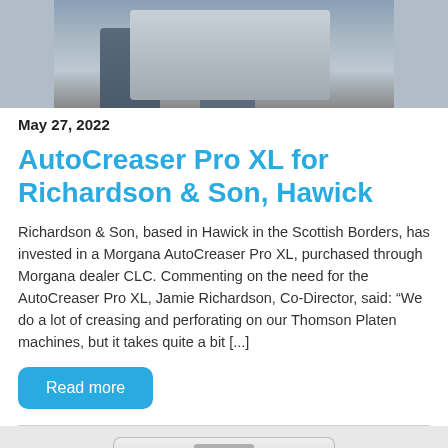[Figure (photo): Photo showing people near a large printing/finishing machine in a warehouse or print shop setting. Lower portion of image visible, showing legs of people and equipment.]
May 27, 2022
AutoCreaser Pro XL for Richardson & Son, Hawick
Richardson & Son, based in Hawick in the Scottish Borders, has invested in a Morgana AutoCreaser Pro XL, purchased through Morgana dealer CLC. Commenting on the need for the AutoCreaser Pro XL, Jamie Richardson, Co-Director, said: “We do a lot of creasing and perforating on our Thomson Platen machines, but it takes quite a bit [...]
Read more
[Figure (photo): Bottom of page shows partial photo of what appears to be a finishing machine, showing the top/cover portion of the device in light metallic color.]